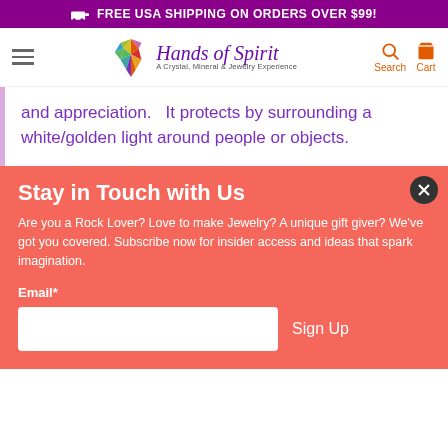FREE USA SHIPPING ON ORDERS OVER $99!
[Figure (logo): Hands of Spirit logo — geometric crystal heart with text 'Hands of Spirit, A Crystal, Mineral & Jewelry Experience']
and appreciation.   It protects by surrounding a white/golden light around people or objects.
Stay in Touch with Us
Are you a Rock Lover? Love to make Jewelry? A unique gift giver? We've got you covered. Subscribe now for insider access and ideas that spark imagination.
Email*
Sign Up